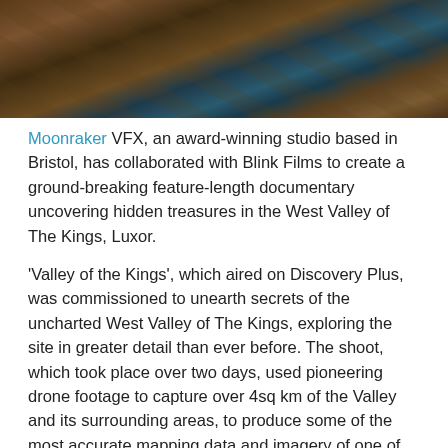[Figure (photo): Aerial or close-up photograph of rocky terrain with blue water or turquoise liquid flowing through dark brown and orange rocks, taken from above.]
Moonraker VFX, an award-winning studio based in Bristol, has collaborated with Blink Films to create a ground-breaking feature-length documentary uncovering hidden treasures in the West Valley of The Kings, Luxor.
'Valley of the Kings', which aired on Discovery Plus, was commissioned to unearth secrets of the uncharted West Valley of The Kings, exploring the site in greater detail than ever before. The shoot, which took place over two days, used pioneering drone footage to capture over 4sq km of the Valley and its surrounding areas, to produce some of the most accurate mapping data and imagery of one of the world's most sacred locations.